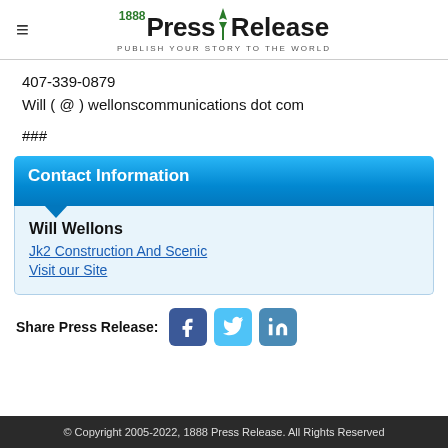1888 Press Release — PUBLISH YOUR STORY TO THE WORLD
407-339-0879
Will ( @ ) wellonscommunications dot com
###
Contact Information
Will Wellons
Jk2 Construction And Scenic
Visit our Site
Share Press Release:
© Copyright 2005-2022, 1888 Press Release. All Rights Reserved